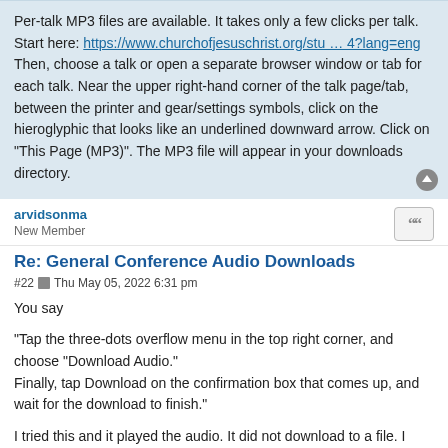Per-talk MP3 files are available. It takes only a few clicks per talk. Start here: https://www.churchofjesuschrist.org/stu … 4?lang=eng Then, choose a talk or open a separate browser window or tab for each talk. Near the upper right-hand corner of the talk page/tab, between the printer and gear/settings symbols, click on the hieroglyphic that looks like an underlined downward arrow. Click on "This Page (MP3)". The MP3 file will appear in your downloads directory.
arvidsonma
New Member
Re: General Conference Audio Downloads
#22  Thu May 05, 2022 6:31 pm
You say
"Tap the three-dots overflow menu in the top right corner, and choose "Download Audio."
Finally, tap Download on the confirmation box that comes up, and wait for the download to finish."
I tried this and it played the audio. It did not download to a file. I want to save the downloaded audio to a file toplay later. I do not want to